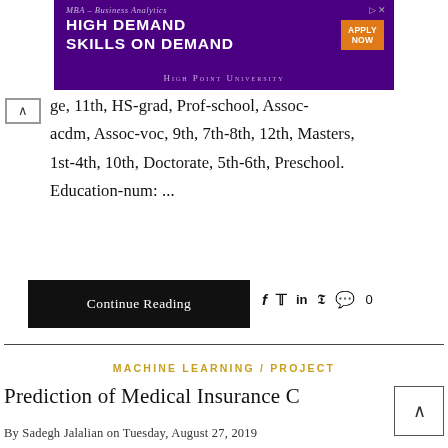[Figure (other): Advertisement banner for MBA - Business Analytics program at High Point University with purple background and orange Apply Now button]
ge, 11th, HS-grad, Prof-school, Assoc-acdm, Assoc-voc, 9th, 7th-8th, 12th, Masters, 1st-4th, 10th, Doctorate, 5th-6th, Preschool. Education-num: ...
Continue Reading
f  in  0
MACHINE LEARNING / PROJECT
Prediction of Medical Insurance C
By Sadegh Jalalian on Tuesday, August 27, 2019